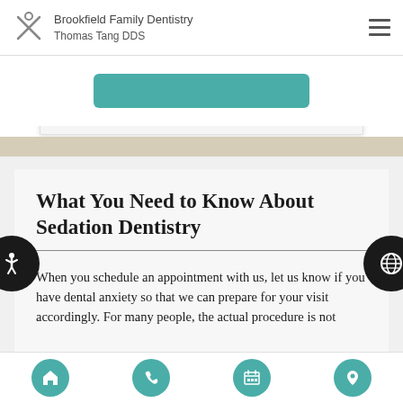Brookfield Family Dentistry Thomas Tang DDS
What You Need to Know About Sedation Dentistry
When you schedule an appointment with us, let us know if you have dental anxiety so that we can prepare for your visit accordingly. For many people, the actual procedure is not